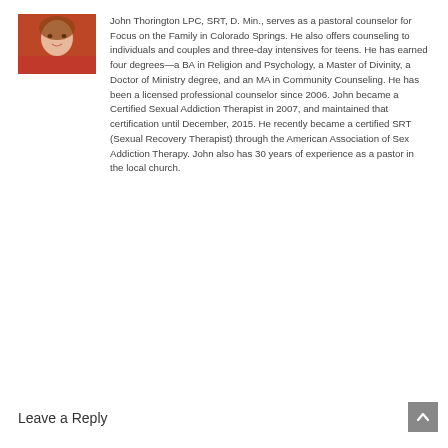[Figure (photo): Headshot photo of John Thorington, a person in a red shirt, cropped to show face and upper shoulders]
John Thorington LPC, SRT, D. Min., serves as a pastoral counselor for Focus on the Family in Colorado Springs. He also offers counseling to individuals and couples and three-day intensives for teens. He has earned four degrees—a BA in Religion and Psychology, a Master of Divinity, a Doctor of Ministry degree, and an MA in Community Counseling. He has been a licensed professional counselor since 2006. John became a Certified Sexual Addiction Therapist in 2007, and maintained that certification until December, 2015. He recently became a certified SRT (Sexual Recovery Therapist) through the American Association of Sex Addiction Therapy. John also has 30 years of experience as a pastor in the local church.
Leave a Reply